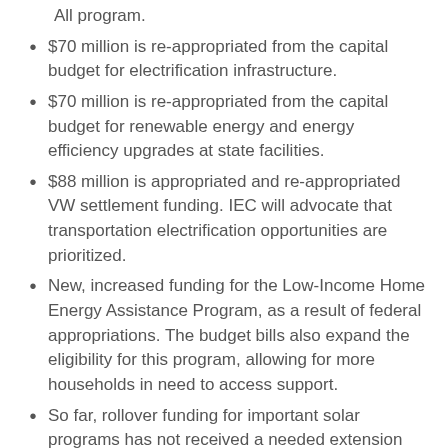All program.
$70 million is re-appropriated from the capital budget for electrification infrastructure.
$70 million is re-appropriated from the capital budget for renewable energy and energy efficiency upgrades at state facilities.
$88 million is appropriated and re-appropriated VW settlement funding. IEC will advocate that transportation electrification opportunities are prioritized.
New, increased funding for the Low-Income Home Energy Assistance Program, as a result of federal appropriations. The budget bills also expand the eligibility for this program, allowing for more households in need to access support.
So far, rollover funding for important solar programs has not received a needed extension